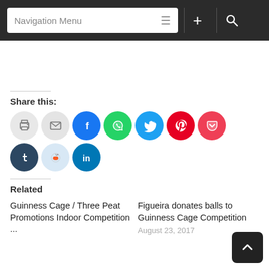Navigation Menu
Share this:
[Figure (infographic): Social media share buttons: print, email, Facebook, WhatsApp, Twitter, Pinterest, Pocket, Tumblr, Reddit, LinkedIn]
Related
Guinness Cage / Three Peat Promotions Indoor Competition ...
Figueira donates balls to Guinness Cage Competition
August 23, 2017